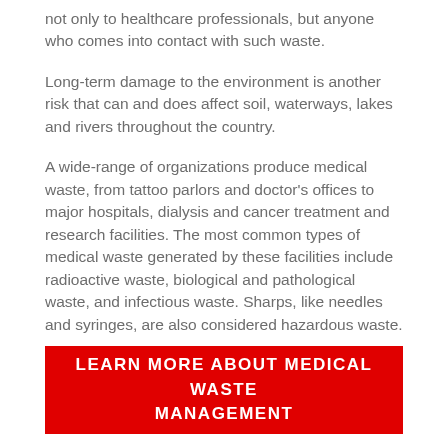not only to healthcare professionals, but anyone who comes into contact with such waste.
Long-term damage to the environment is another risk that can and does affect soil, waterways, lakes and rivers throughout the country.
A wide-range of organizations produce medical waste, from tattoo parlors and doctor's offices to major hospitals, dialysis and cancer treatment and research facilities. The most common types of medical waste generated by these facilities include radioactive waste, biological and pathological waste, and infectious waste. Sharps, like needles and syringes, are also considered hazardous waste.
[Figure (other): Red call-to-action button with white text reading LEARN MORE ABOUT MEDICAL WASTE MANAGEMENT]